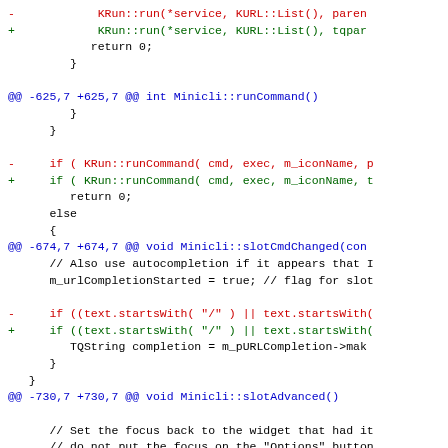[Figure (screenshot): A unified diff patch showing code changes, with red lines for removed code, green for added code, and blue for diff hunk headers. The diff shows changes to KRun::run, Minicli::runCommand, Minicli::slotCmdChanged, and Minicli::slotAdvanced functions, replacing parent/p parameters with tqpar/t equivalents and focusWidget() with tqfocusWidget().]